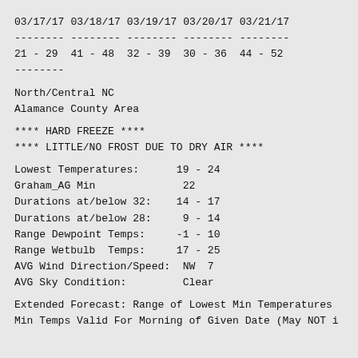| 03/17/17 | 03/18/17 | 03/19/17 | 03/20/17 | 03/21/17 |
| --- | --- | --- | --- | --- |
| -------- | -------- | -------- | -------- | -------- |
| 21 - 29 | 41 - 48 | 32 - 39 | 30 - 36 | 44 - 52 |
| -------- |  |  |  |  |
North/Central NC
Alamance County Area
**** HARD FREEZE ****
**** LITTLE/NO FROST DUE TO DRY AIR ****
Lowest Temperatures:      19 - 24
Graham_AG Min              22
Durations at/below 32:    14 - 17
Durations at/below 28:     9 - 14
Range Dewpoint Temps:     -1 - 10
Range Wetbulb  Temps:     17 - 25
AVG Wind Direction/Speed:  NW  7
AVG Sky Condition:         Clear
Extended Forecast: Range of Lowest Min Temperatures
Min Temps Valid For Morning of Given Date (May NOT i